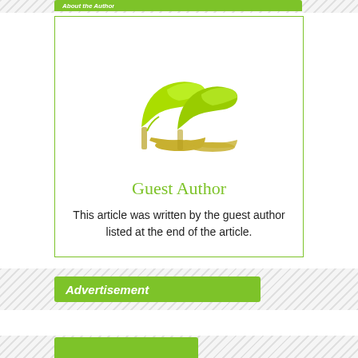About the Author
[Figure (photo): Pair of bright neon yellow-green high heel platform pumps on a white background]
Guest Author
This article was written by the guest author listed at the end of the article.
Advertisement